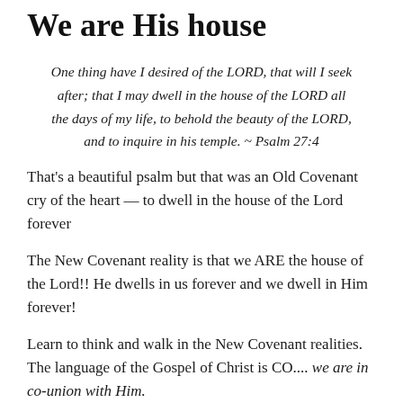We are His house
One thing have I desired of the LORD, that will I seek after; that I may dwell in the house of the LORD all the days of my life, to behold the beauty of the LORD, and to inquire in his temple. ~ Psalm 27:4
That's a beautiful psalm but that was an Old Covenant cry of the heart — to dwell in the house of the Lord forever
The New Covenant reality is that we ARE the house of the Lord!! He dwells in us forever and we dwell in Him forever!
Learn to think and walk in the New Covenant realities.  The language of the Gospel of Christ is CO.... we are in co-union with Him.